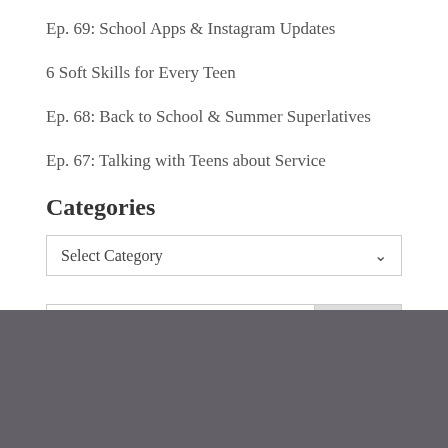Ep. 69: School Apps & Instagram Updates
6 Soft Skills for Every Teen
Ep. 68: Back to School & Summer Superlatives
Ep. 67: Talking with Teens about Service
Categories
Select Category (dropdown)
Search (search box)